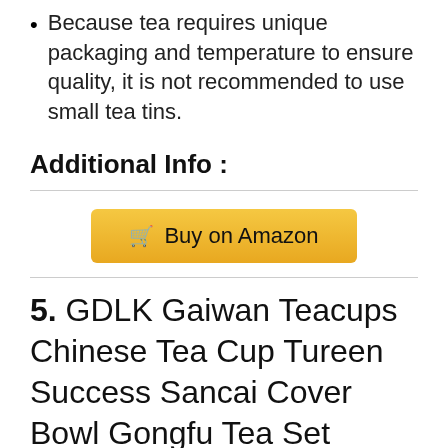Because tea requires unique packaging and temperature to ensure quality, it is not recommended to use small tea tins.
Additional Info :
[Figure (other): Buy on Amazon button with shopping cart icon and golden background]
5. GDLK Gaiwan Teacups Chinese Tea Cup Tureen Success Sancai Cover Bowl Gongfu Tea Set (lotus)